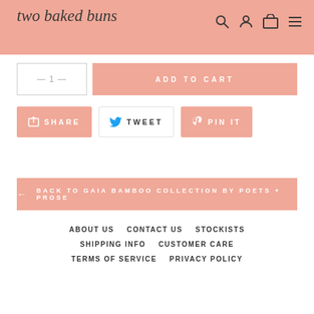two baked buns
ADD TO CART
SHARE  TWEET  PIN IT
BACK TO GAIA BAMBOO COLLECTION BY POETS + PROSE
ABOUT US  CONTACT US  STOCKISTS
SHIPPING INFO  CUSTOMER CARE
TERMS OF SERVICE  PRIVACY POLICY